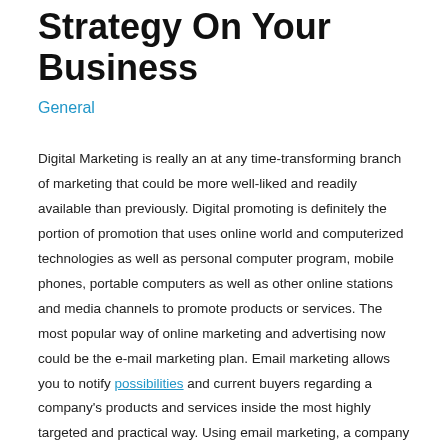Strategy On Your Business
General
Digital Marketing is really an at any time-transforming branch of marketing that could be more well-liked and readily available than previously. Digital promoting is definitely the portion of promotion that uses online world and computerized technologies as well as personal computer program, mobile phones, portable computers as well as other online stations and media channels to promote products or services. The most popular way of online marketing and advertising now could be the e-mail marketing plan. Email marketing allows you to notify possibilities and current buyers regarding a company's products and services inside the most highly targeted and practical way. Using email marketing, a company can increase customer loyalty and make stronger ties with existing customers.
There are actually some online promoting periods from the